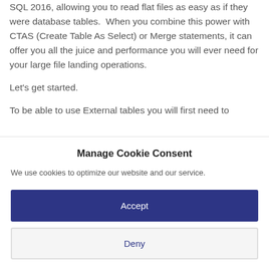SQL 2016, allowing you to read flat files as easy as if they were database tables.  When you combine this power with CTAS (Create Table As Select) or Merge statements, it can offer you all the juice and performance you will ever need for your large file landing operations.
Let's get started.
To be able to use External tables you will first need to
Manage Cookie Consent
We use cookies to optimize our website and our service.
Accept
Deny